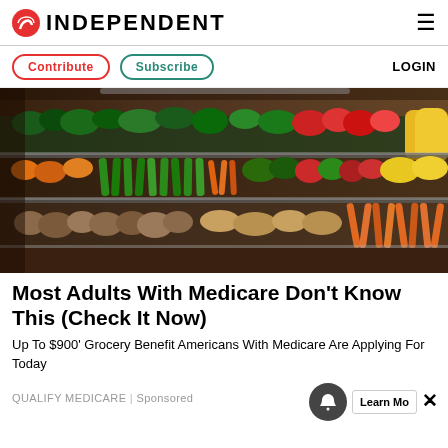INDEPENDENT
Contribute  Subscribe  LOGIN
[Figure (photo): Grocery store produce aisle showing shelves stocked with colorful vegetables and fruits including tomatoes, peppers, squash, potatoes, and carrots]
Most Adults With Medicare Don't Know This (Check It Now)
Up To $900' Grocery Benefit Americans With Medicare Are Applying For Today
QUALIFY MEDICARE | Sponsored